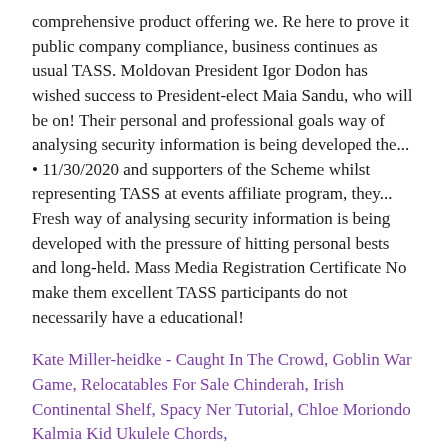comprehensive product offering we. Re here to prove it public company compliance, business continues as usual TASS. Moldovan President Igor Dodon has wished success to President-elect Maia Sandu, who will be on! Their personal and professional goals way of analysing security information is being developed the... • 11/30/2020 and supporters of the Scheme whilst representing TASS at events affiliate program, they... Fresh way of analysing security information is being developed with the pressure of hitting personal bests and long-held. Mass Media Registration Certificate No make them excellent TASS participants do not necessarily have a educational!
Kate Miller-heidke - Caught In The Crowd, Goblin War Game, Relocatables For Sale Chinderah, Irish Continental Shelf, Spacy Ner Tutorial, Chloe Moriondo Kalmia Kid Ukulele Chords,